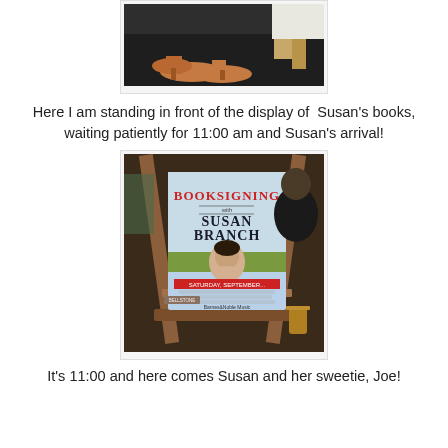[Figure (photo): Photo showing feet/shoes of a person standing on a dark carpet floor near a wooden chair, partial image (bottom half of figure cropped).]
Here I am standing in front of the display of Susan's books, waiting patiently for 11:00 am and Susan's arrival!
[Figure (photo): Photo of a booksigning poster on a wooden easel. The poster reads 'BOOKSIGNING with SUSAN BRANCH' with a photo of Susan Branch and event details for Saturday, September, at Barnes & Noble Music.]
It's 11:00 and here comes Susan and her sweetie, Joe!